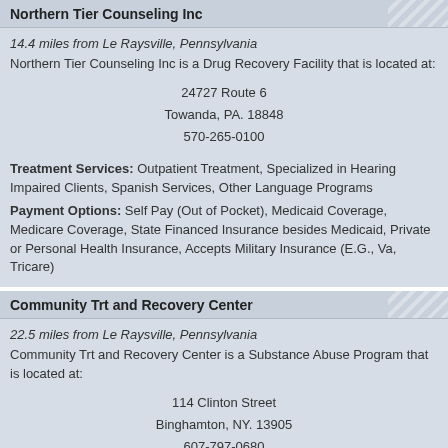Northern Tier Counseling Inc
14.4 miles from Le Raysville, Pennsylvania
Northern Tier Counseling Inc is a Drug Recovery Facility that is located at:
24727 Route 6
Towanda, PA. 18848
570-265-0100
Treatment Services: Outpatient Treatment, Specialized in Hearing Impaired Clients, Spanish Services, Other Language Programs
Payment Options: Self Pay (Out of Pocket), Medicaid Coverage, Medicare Coverage, State Financed Insurance besides Medicaid, Private or Personal Health Insurance, Accepts Military Insurance (E.G., Va, Tricare)
Community Trt and Recovery Center
22.5 miles from Le Raysville, Pennsylvania
Community Trt and Recovery Center is a Substance Abuse Program that is located at:
114 Clinton Street
Binghamton, NY. 13905
607-797-0680
Treatment Services: Outpatient Treatment, Co-Occurring Mental with Substance Abuse Issues, Specialized in Hearing Impaired Clients,